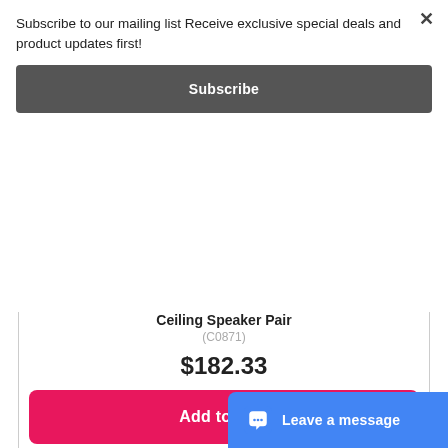Subscribe to our mailing list Receive exclusive special deals and product updates first!
Subscribe
×
Ceiling Speaker Pair
(C0871)
$182.33
Add to Cart
♡ Add to Wishlist
[Figure (photo): Partial product card showing a product image at the bottom of the page]
Leave a message